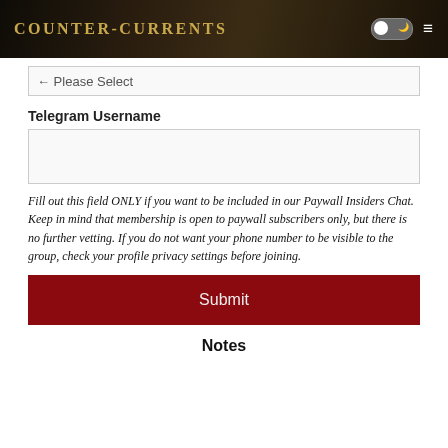Counter-Currents
Please Select
Telegram Username
Fill out this field ONLY if you want to be included in our Paywall Insiders Chat. Keep in mind that membership is open to paywall subscribers only, but there is no further vetting. If you do not want your phone number to be visible to the group, check your profile privacy settings before joining.
Submit
Notes